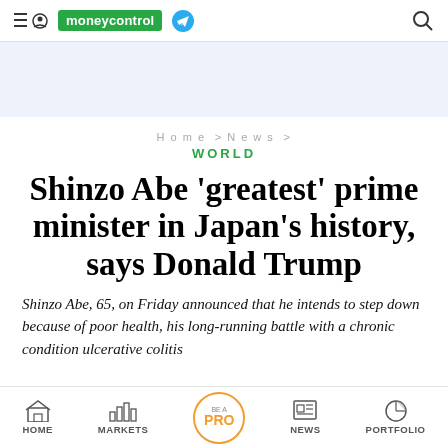moneycontrol
[Figure (screenshot): Ad banner area, light blue background]
Home > News > WORLD
Shinzo Abe 'greatest' prime minister in Japan's history, says Donald Trump
Shinzo Abe, 65, on Friday announced that he intends to step down because of poor health, his long-running battle with a chronic condition ulcerative colitis...
HOME  MARKETS  BE A PRO  NEWS  PORTFOLIO